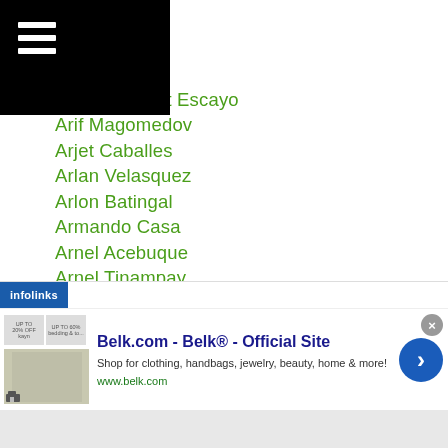...uero
...der
Ariel Arevalo
Ariel Benedict Escayo
Arif Magomedov
Arjet Caballes
Arlan Velasquez
Arlon Batingal
Armando Casa
Arnel Acebuque
Arnel Tinampay
Arnold Garcia
Artem Redko
Artem Solomko
Artem Zorin
...Villanueva
[Figure (screenshot): Infolinks advertisement banner for Belk.com - Belk Official Site, showing clothing/home goods, with close button and navigation arrow]